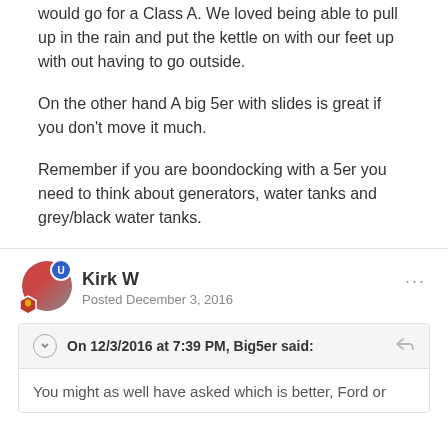would go for a Class A. We loved being able to pull up in the rain and put the kettle on with our feet up with out having to go outside.
On the other hand A big 5er with slides is great if you don't move it much.
Remember if you are boondocking with a 5er you need to think about generators, water tanks and grey/black water tanks.
Kirk W
Posted December 3, 2016
On 12/3/2016 at 7:39 PM, Big5er said:
You might as well have asked which is better, Ford or